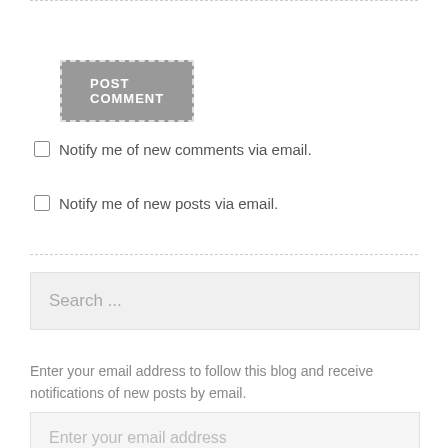[Figure (other): POST COMMENT button with grey background and dashed white border]
Notify me of new comments via email.
Notify me of new posts via email.
[Figure (other): Search input field with placeholder text 'Search ...']
Enter your email address to follow this blog and receive notifications of new posts by email.
[Figure (other): Email input field with placeholder text 'Enter your email address']